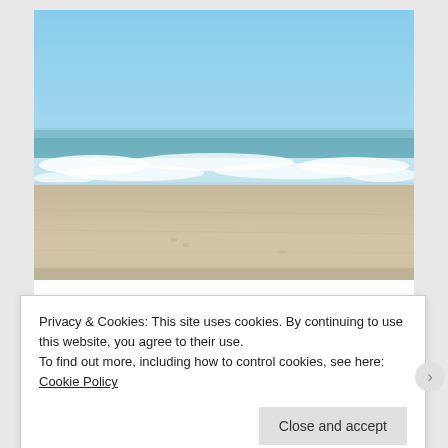[Figure (photo): Beach photo showing ocean waves washing onto a sandy beach under a clear blue sky. White surf visible in the middle ground, calm blue ocean and sandy shoreline.]
Humanoid 'aliens' washes up on Australian beaches
Privacy & Cookies: This site uses cookies. By continuing to use this website, you agree to their use.
To find out more, including how to control cookies, see here: Cookie Policy
Close and accept